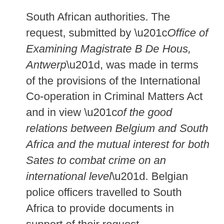South African authorities. The request, submitted by “Office of Examining Magistrate B De Hous, Antwerp”, was made in terms of the provisions of the International Co-operation in Criminal Matters Act and in view “of the good relations between Belgium and South Africa and the mutual interest for both Sates to combat crime on an international level”. Belgian police officers travelled to South Africa to provide documents in support of their request.